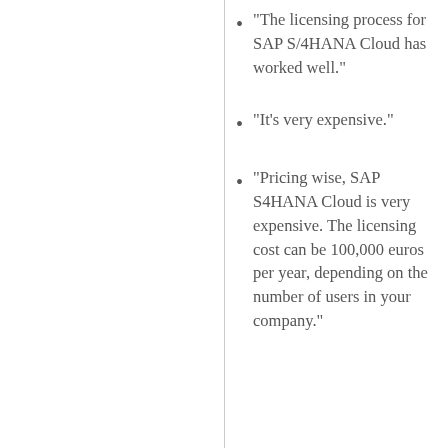"The licensing process for SAP S/4HANA Cloud has worked well."
"It's very expensive."
"Pricing wise, SAP S4HANA Cloud is very expensive. The licensing cost can be 100,000 euros per year, depending on the number of users in your company."